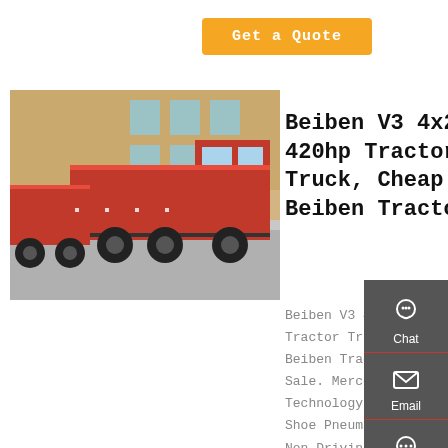Get a Quote
[Figure (photo): Red Beiben dump trucks parked in front of a building]
Beiben V3 4x2 420hp Tractor Truck, Cheap Beiben Tractor
Beiben V3 4x2 420hp Tractor Truck, Cheap Beiben Tractor Truck For Sale. Mercedes Benz Technology, 7.5t Double Shoe Pneumatic Brake, Non-Driving Steering Axle. China Beiben